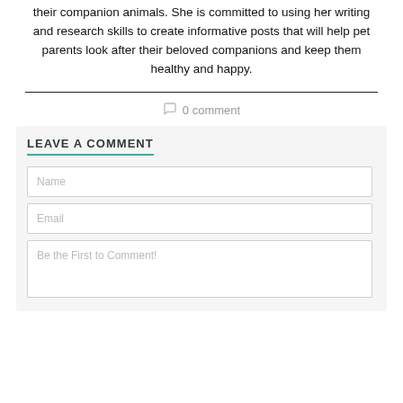their companion animals. She is committed to using her writing and research skills to create informative posts that will help pet parents look after their beloved companions and keep them healthy and happy.
0 comment
LEAVE A COMMENT
Name
Email
Be the First to Comment!